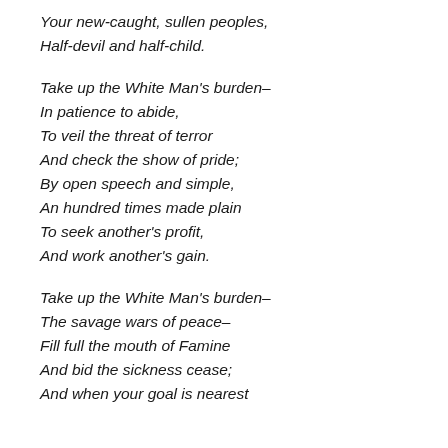Your new-caught, sullen peoples,
Half-devil and half-child.

Take up the White Man's burden–
In patience to abide,
To veil the threat of terror
And check the show of pride;
By open speech and simple,
An hundred times made plain
To seek another's profit,
And work another's gain.

Take up the White Man's burden–
The savage wars of peace–
Fill full the mouth of Famine
And bid the sickness cease;
And when your goal is nearest